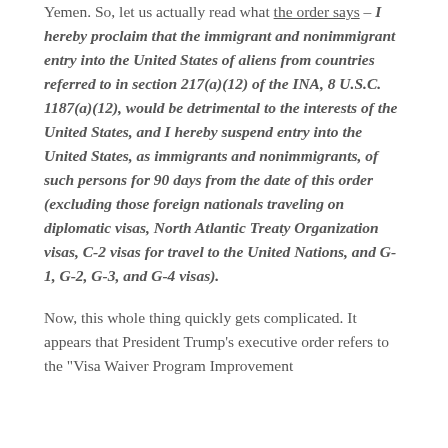Yemen. So, let us actually read what the order says – I hereby proclaim that the immigrant and nonimmigrant entry into the United States of aliens from countries referred to in section 217(a)(12) of the INA, 8 U.S.C. 1187(a)(12), would be detrimental to the interests of the United States, and I hereby suspend entry into the United States, as immigrants and nonimmigrants, of such persons for 90 days from the date of this order (excluding those foreign nationals traveling on diplomatic visas, North Atlantic Treaty Organization visas, C-2 visas for travel to the United Nations, and G-1, G-2, G-3, and G-4 visas).
Now, this whole thing quickly gets complicated. It appears that President Trump's executive order refers to the "Visa Waiver Program Improvement